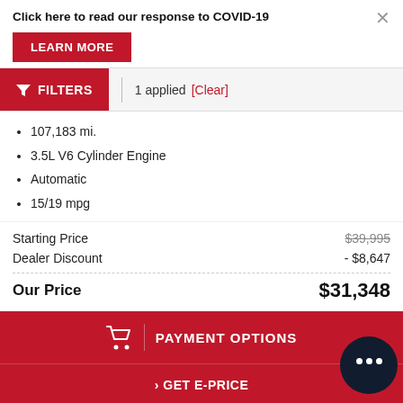Click here to read our response to COVID-19
LEARN MORE
FILTERS   1 applied  [Clear]
107,183 mi.
3.5L V6 Cylinder Engine
Automatic
15/19 mpg
| Label | Value |
| --- | --- |
| Starting Price | $39,995 |
| Dealer Discount | - $8,647 |
| Our Price | $31,348 |
PAYMENT OPTIONS
> GET E-PRICE